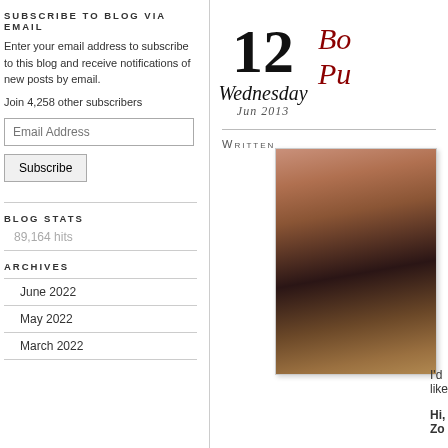SUBSCRIBE TO BLOG VIA EMAIL
Enter your email address to subscribe to this blog and receive notifications of new posts by email.
Join 4,258 other subscribers
Email Address
Subscribe
BLOG STATS
89,164 hits
ARCHIVES
June 2022
May 2022
March 2022
12
Wednesday
Jun 2013
Bo
Pu
WRITTEN
[Figure (photo): Portrait photo of a woman with long dark hair]
I'd like
Hi, Zo